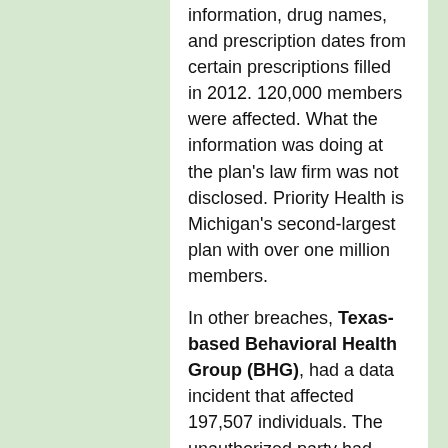information, drug names, and prescription dates from certain prescriptions filled in 2012. 120,000 members were affected. What the information was doing at the plan's law firm was not disclosed. Priority Health is Michigan's second-largest plan with over one million members.
In other breaches, Texas-based Behavioral Health Group (BHG), had a data incident that affected 197,507 individuals. The unauthorized party had potentially removed certain files and folders from portions of its network on 5 December 2021. The files include names, Social Security numbers, driver's license numbers, financial account information, biometrics, medication information, medical record numbers, dates of service, passports, payment card information, and health insurance information. However, the information accessed doesn't appear to have been